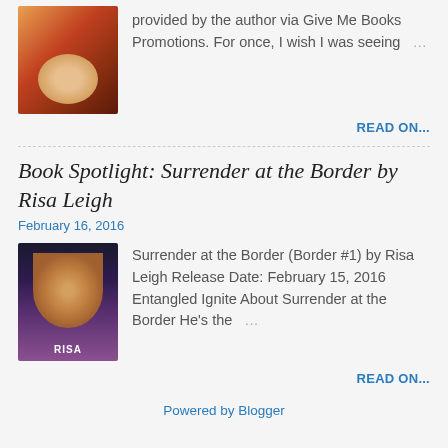[Figure (photo): Book cover thumbnail — warm orange and red tones]
provided by the author via Give Me Books Promotions. For once, I wish I was seeing …
READ ON...
Book Spotlight: Surrender at the Border by Risa Leigh
February 16, 2016
[Figure (photo): Book cover for 'Surrender at the Border' by Risa — shirtless man, purple/dark background, label RISA at bottom]
Surrender at the Border (Border #1) by Risa Leigh Release Date: February 15, 2016 Entangled Ignite About Surrender at the Border He's the …
READ ON...
Powered by Blogger